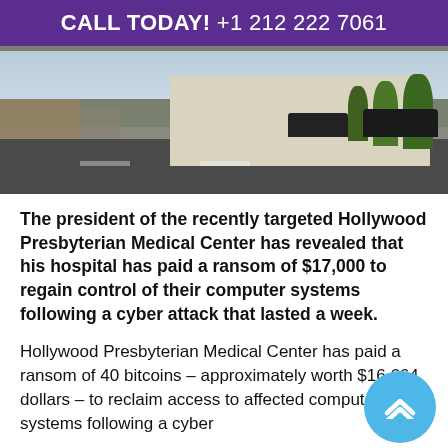CALL TODAY! +1 212 222 7061
[Figure (photo): Exterior street view photo of Hollywood Presbyterian Medical Center building with parking lot and trees]
The president of the recently targeted Hollywood Presbyterian Medical Center has revealed that his hospital has paid a ransom of $17,000 to regain control of their computer systems following a cyber attack that lasted a week.
Hollywood Presbyterian Medical Center has paid a ransom of 40 bitcoins – approximately worth $16,664 dollars – to reclaim access to affected computer systems following a cyber